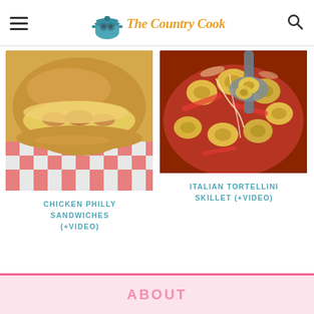The Country Cook
[Figure (photo): Close-up photo of a Chicken Philly Sandwich with melted cheese in a hoagie roll, served in a red and white checkered paper-lined basket]
CHICKEN PHILLY SANDWICHES (+VIDEO)
[Figure (photo): Close-up photo of Italian Tortellini Skillet with tomatoes, being served with a spoon, with melted cheese]
ITALIAN TORTELLINI SKILLET (+VIDEO)
ABOUT